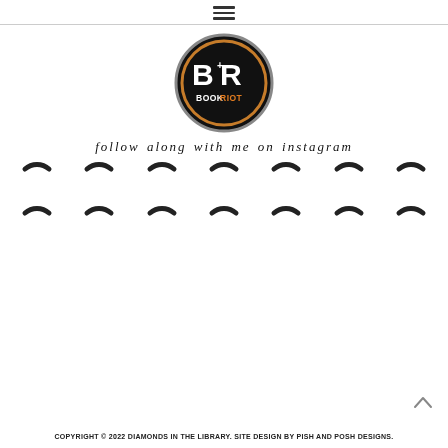≡ (hamburger menu icon)
[Figure (logo): Book Riot logo: black circle with orange ring border, white BR letters and orange RIOT text reading BOOKRIOT]
follow along with me on instagram
[Figure (other): Two rows of 7 loading spinner arcs each, indicating Instagram images loading]
COPYRIGHT © 2022 DIAMONDS IN THE LIBRARY. SITE DESIGN BY PISH AND POSH DESIGNS.